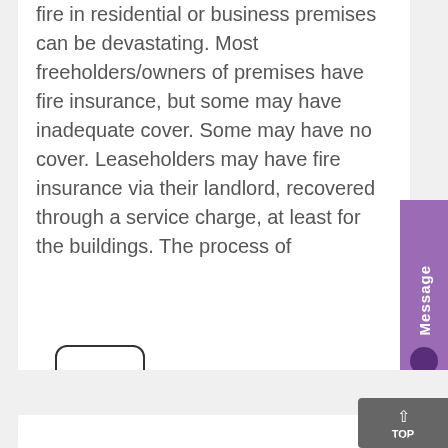fire in residential or business premises can be devastating. Most freeholders/owners of premises have fire insurance, but some may have inadequate cover. Some may have no cover. Leaseholders may have fire insurance via their landlord, recovered through a service charge, at least for the buildings. The process of
[Figure (other): Icon box with horizontal lines and dots representing a document or list]